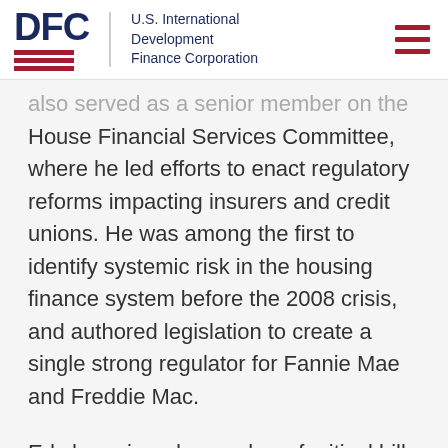DFC | U.S. International Development Finance Corporation
also served as a senior member on the House Financial Services Committee, where he led efforts to enact regulatory reforms impacting insurers and credit unions. He was among the first to identify systemic risk in the housing finance system before the 2008 crisis, and authored legislation to create a single strong regulator for Fannie Mae and Freddie Mac.
Ed championed a number of critical bills over the span of his career and worked hard to pass legislation targeting issues of global